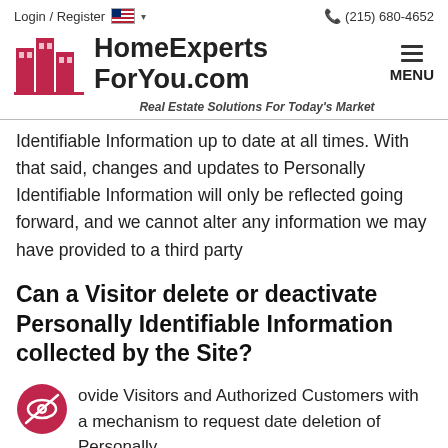Login / Register   (215) 680-4652
[Figure (logo): HomeExpertsForYou.com logo with red building icon and brand name, tagline: Real Estate Solutions For Today's Market]
Identifiable Information up to date at all times. With that said, changes and updates to Personally Identifiable Information will only be reflected going forward, and we cannot alter any information we may have provided to a third party
Can a Visitor delete or deactivate Personally Identifiable Information collected by the Site?
ovide Visitors and Authorized Customers with a mechanism to request date deletion of Personally